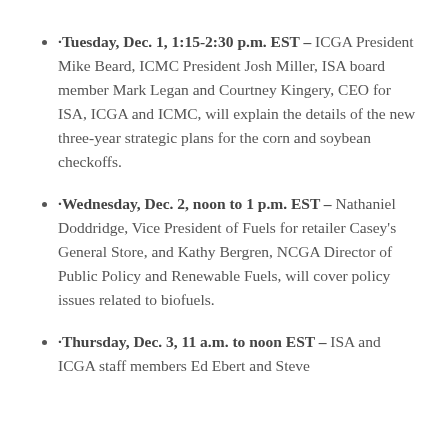·Tuesday, Dec. 1, 1:15-2:30 p.m. EST – ICGA President Mike Beard, ICMC President Josh Miller, ISA board member Mark Legan and Courtney Kingery, CEO for ISA, ICGA and ICMC, will explain the details of the new three-year strategic plans for the corn and soybean checkoffs.
·Wednesday, Dec. 2, noon to 1 p.m. EST – Nathaniel Doddridge, Vice President of Fuels for retailer Casey's General Store, and Kathy Bergren, NCGA Director of Public Policy and Renewable Fuels, will cover policy issues related to biofuels.
·Thursday, Dec. 3, 11 a.m. to noon EST – ISA and ICGA staff members Ed Ebert and Steve